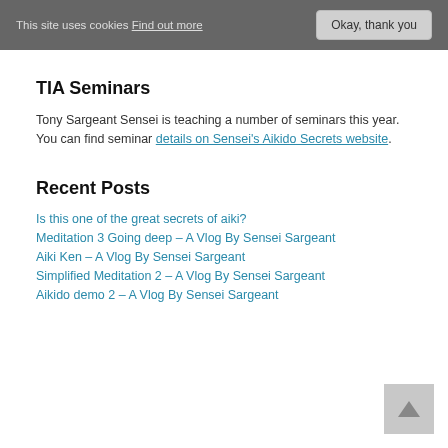This site uses cookies Find out more  Okay, thank you
TIA Seminars
Tony Sargeant Sensei is teaching a number of seminars this year. You can find seminar details on Sensei's Aikido Secrets website.
Recent Posts
Is this one of the great secrets of aiki?
Meditation 3 Going deep – A Vlog By Sensei Sargeant
Aiki Ken – A Vlog By Sensei Sargeant
Simplified Meditation 2 – A Vlog By Sensei Sargeant
Aikido demo 2 – A Vlog By Sensei Sargeant